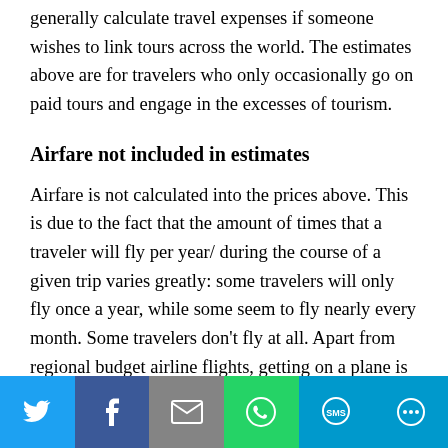generally calculate travel expenses if someone wishes to link tours across the world. The estimates above are for travelers who only occasionally go on paid tours and engage in the excesses of tourism.
Airfare not included in estimates
Airfare is not calculated into the prices above. This is due to the fact that the amount of times that a traveler will fly per year/ during the course of a given trip varies greatly: some travelers will only fly once a year, while some seem to fly nearly every month. Some travelers don't fly at all. Apart from regional budget airline flights, getting on a plane is the single biggest
Social share bar with Twitter, Facebook, Email, WhatsApp, SMS, More buttons